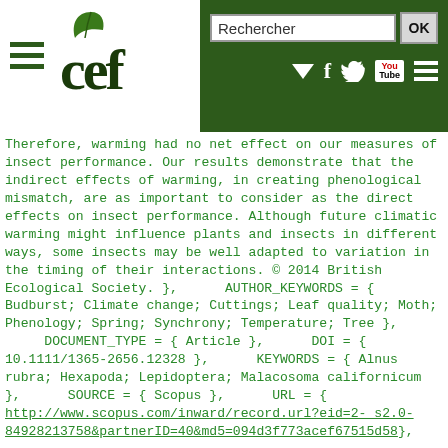CEF - Rechercher [search bar with OK button, social media icons]
Therefore, warming had no net effect on our measures of insect performance. Our results demonstrate that the indirect effects of warming, in creating phenological mismatch, are as important to consider as the direct effects on insect performance. Although future climatic warming might influence plants and insects in different ways, some insects may be well adapted to variation in the timing of their interactions. © 2014 British Ecological Society. },
     AUTHOR_KEYWORDS = { Budburst; Climate change; Cuttings; Leaf quality; Moth; Phenology; Spring; Synchrony; Temperature; Tree },
     DOCUMENT_TYPE = { Article },
     DOI = { 10.1111/1365-2656.12328 },
     KEYWORDS = { Alnus rubra; Hexapoda; Lepidoptera; Malacosoma californicum },
     SOURCE = { Scopus },
     URL = { http://www.scopus.com/inward/record.url?eid=2-s2.0-84928213758&partnerID=40&md5=094d3f773acef67515d58... },